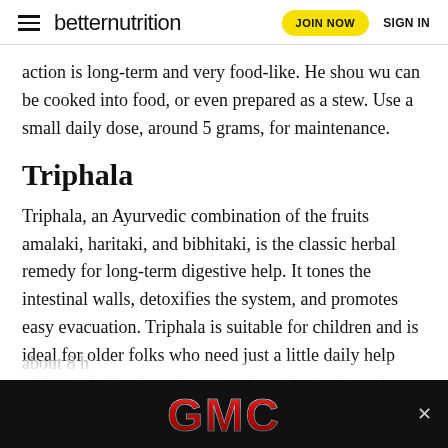betternutrition | JOIN NOW | SIGN IN
action is long-term and very food-like. He shou wu can be cooked into food, or even prepared as a stew. Use a small daily dose, around 5 grams, for maintenance.
Triphala
Triphala, an Ayurvedic combination of the fruits amalaki, haritaki, and bibhitaki, is the classic herbal remedy for long-term digestive help. It tones the intestinal walls, detoxifies the system, and promotes easy evacuation. Triphala is suitable for children and is ideal for older folks who need just a little daily help with regularity. As a short-term laxative to detox the colon, use 6 grams per day. An easy bowel movement comes in about 8 h
[Figure (other): GMC advertisement banner in black background with red GMC logo text and a close (x) button]